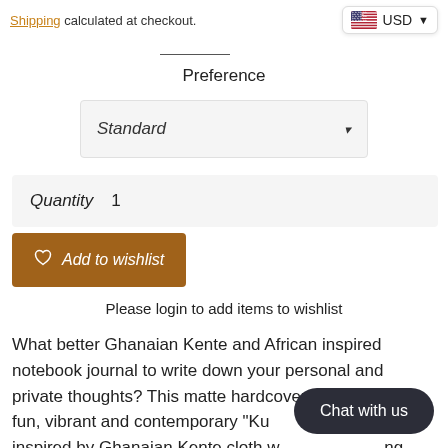Shipping calculated at checkout.
Preference
Standard ▾
Quantity   1
♡  Add to wishlist
Please login to add items to wishlist
What better Ghanaian Kente and African inspired notebook journal to write down your personal and private thoughts? This matte hardcover journal in our fun, vibrant and contemporary "Ku inspired by Ghanaian Kente cloth w ng your thoughts all the more special.
Chat with us